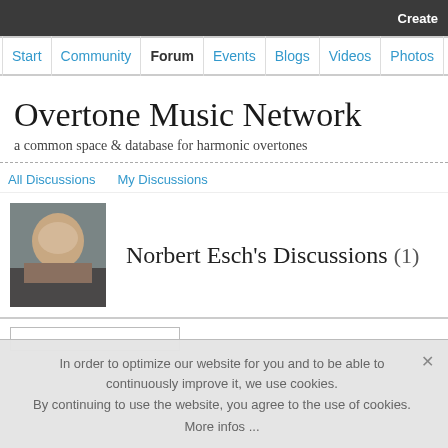Create
Start | Community | Forum | Events | Blogs | Videos | Photos
Overtone Music Network
a common space & database for harmonic overtones
All Discussions   My Discussions
Norbert Esch's Discussions (1)
In order to optimize our website for you and to be able to continuously improve it, we use cookies. By continuing to use the website, you agree to the use of cookies. More infos ...